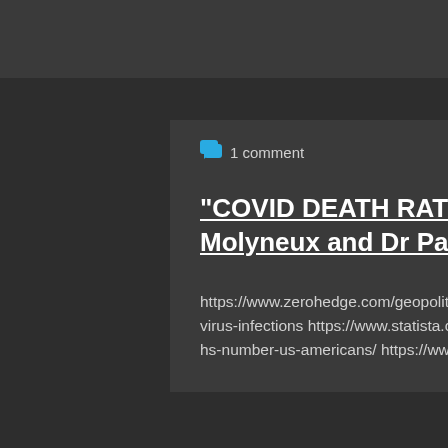💬 1 comment
"COVID DEATH RATE GOING DOWN?" Stefan Molyneux and Dr Paul Cottrell
https://www.zerohedge.com/geopolitical/dozens-patients-wuhan-have-developed-chronic-coronavirus-infections https://www.statista.com/statistics/1101932/coronavirus-covid19-cases-and-deaths-number-us-americans/ https://www.zerohedge.com/healt